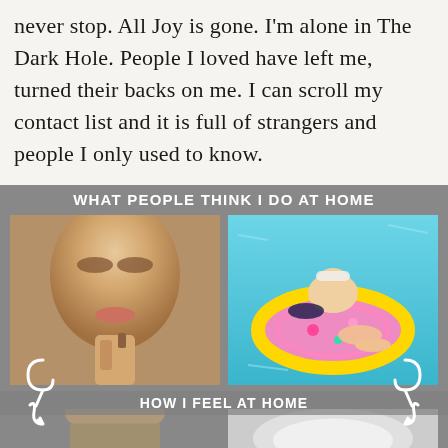never stop. All Joy is gone. I'm alone in The Dark Hole. People I loved have left me, turned their backs on me. I can scroll my contact list and it is full of strangers and people I only used to know.
[Figure (infographic): A meme-style infographic with gray background. Top section titled 'WHAT PEOPLE THINK I DO AT HOME' with two photos: left shows a glamorous woman eating/licking chocolate, right shows a woman lounging on a pink donut-shaped pool float in blue water. Bottom section titled 'HOW I FEEL AT HOME' with two photos partially visible: left shows a disheveled person, right shows an ambiguous blurred image. White swirl/arrow decorations connect the sections.]